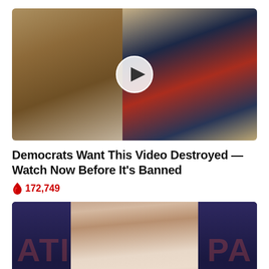[Figure (photo): Photo of a woman with long blonde hair (left) and a man in a dark suit with a red tie (right), with a circular video play button overlay in the center]
Democrats Want This Video Destroyed — Watch Now Before It's Banned
🔥 172,749
[Figure (photo): Photo of an older woman with short brown hair standing at a podium/microphone, in front of a dark blue banner background with large red letters partially visible reading 'ATI' on left and 'PA' on right]